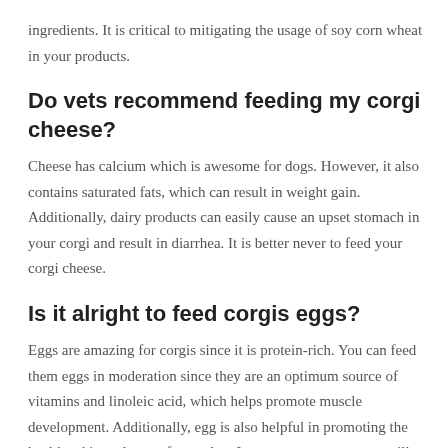ingredients. It is critical to mitigating the usage of soy corn wheat in your products.
Do vets recommend feeding my corgi cheese?
Cheese has calcium which is awesome for dogs. However, it also contains saturated fats, which can result in weight gain. Additionally, dairy products can easily cause an upset stomach in your corgi and result in diarrhea. It is better never to feed your corgi cheese.
Is it alright to feed corgis eggs?
Eggs are amazing for corgis since it is protein-rich. You can feed them eggs in moderation since they are an optimum source of vitamins and linoleic acid, which helps promote muscle development. Additionally, egg is also helpful in promoting the healthy skin and coat of your dog. In many cases, raw eggs will